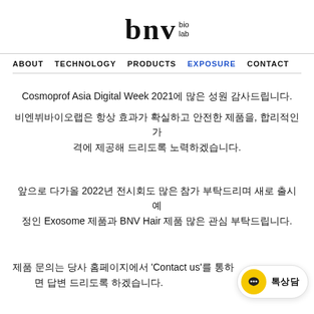[Figure (logo): bnv bio lab logo in serif font with 'bio lab' text to the right]
ABOUT  TECHNOLOGY  PRODUCTS  EXPOSURE  CONTACT
Cosmoprof Asia Digital Week 2021에 많은 성원 감사드립니다.
비엔뷔바이오랩은 항상 효과가 확실하고 안전한 제품을, 합리적인 가격에 제공해 드리도록 노력하겠습니다.
앞으로 다가올 2022년 전시회도 많은 참가 부탁드리며 새로 출시 예정인 Exosome 제품과 BNV Hair 제품 많은 관심 부탁드립니다.
제품 문의는 당사 홈페이지에서 'Contact us'를 통하면 답변 드리도록 하겠습니다.
[Figure (other): 톡상담 chat button with yellow circle and speech bubble icon]